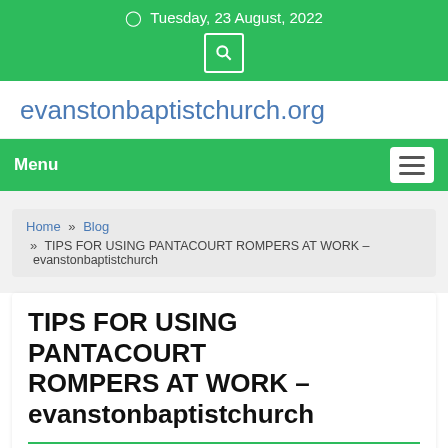Tuesday, 23 August, 2022
evanstonbaptistchurch.org
Menu
Home » Blog » TIPS FOR USING PANTACOURT ROMPERS AT WORK – evanstonbaptistchurch
TIPS FOR USING PANTACOURT ROMPERS AT WORK – evanstonbaptistchurch
By Jeff Webb November 2, 2020 Business,